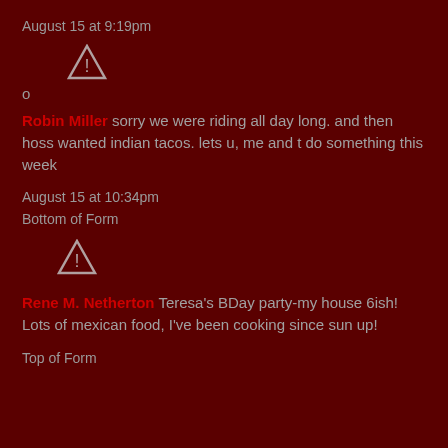August 15 at 9:19pm
[Figure (other): Warning triangle icon]
o
Robin Miller sorry we were riding all day long. and then hoss wanted indian tacos. lets u, me and t do something this week
August 15 at 10:34pm
Bottom of Form
[Figure (other): Warning triangle icon]
Rene M. Netherton Teresa's BDay party-my house 6ish! Lots of mexican food, I've been cooking since sun up!
Top of Form